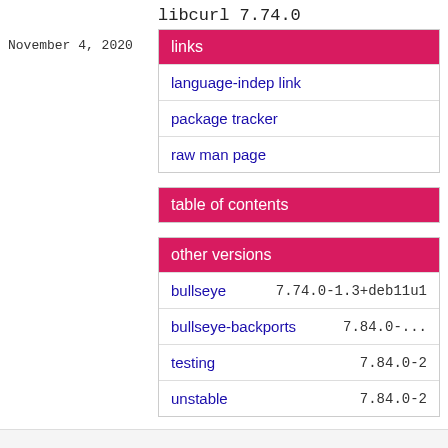November 4, 2020
libcurl 7.74.0
| links |
| --- |
| language-indep link |
| package tracker |
| raw man page |
| table of contents |
| --- |
| other versions |
| --- |
| bullseye | 7.74.0-1.3+deb11u1 |
| bullseye-backports | 7.84.0-... |
| testing | 7.84.0-2 |
| unstable | 7.84.0-2 |